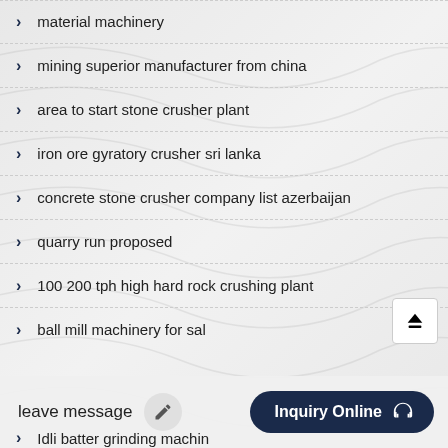material machinery
mining superior manufacturer from china
area to start stone crusher plant
iron ore gyratory crusher sri lanka
concrete stone crusher company list azerbaijan
quarry run proposed
100 200 tph high hard rock crushing plant
ball mill machinery for sal...
Idli batter grinding machin...
leave message
Inquiry Online